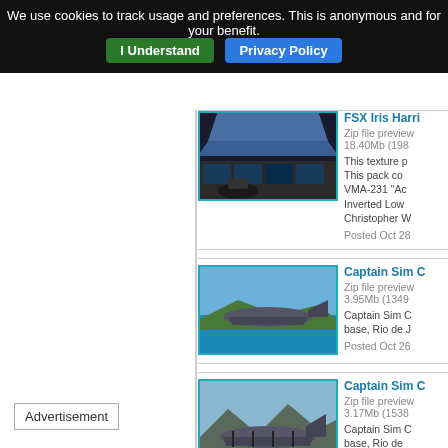We use cookies to track usage and preferences. This is anonymous and for your benefit. I Understand  Privacy Policy
[Figure (screenshot): Aircraft cockpit interior view from flight simulator]
FSX Iris Harri
Zip file preview
18.40Mb (198

This texture p
This pack co
VMA-231 "Ac
Inverted Low
Christopher W

Posted Oct 28
[Figure (screenshot): Military transport aircraft flying over tropical coastline in flight simulator]
Captain Sim C
Zip file preview
3.95Mb (1349

Captain Sim C
base, Rio de J

Posted Oct 26
[Figure (screenshot): Military transport aircraft on ground with mountains in background in flight simulator]
Captain Sim C
Zip file preview
3.17Mb (1538

Captain Sim C
base, Rio de
Advertisement